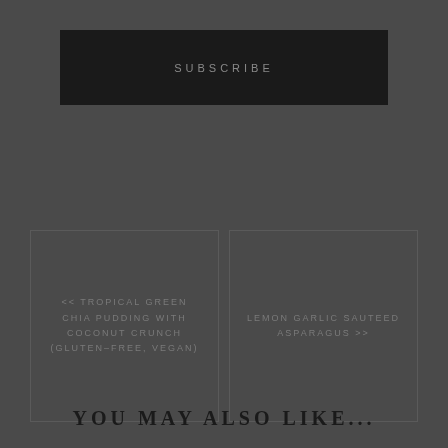SUBSCRIBE
<< TROPICAL GREEN CHIA PUDDING WITH COCONUT CRUNCH (GLUTEN-FREE, VEGAN)
LEMON GARLIC SAUTEED ASPARAGUS >>
YOU MAY ALSO LIKE...